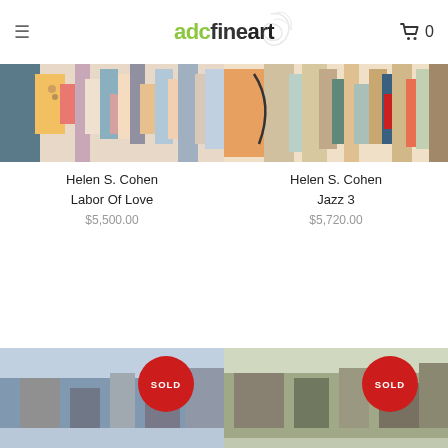adcfineart
[Figure (photo): Abstract colorful painting - Helen S. Cohen Labor Of Love]
[Figure (photo): Abstract colorful painting - Helen S. Cohen Jazz 3]
Helen S. Cohen
Labor Of Love
$5,500.00
Helen S. Cohen
Jazz 3
$5,720.00
[Figure (photo): Artwork with SOLD badge - bottom left]
[Figure (photo): Artwork with SOLD badge - bottom right]